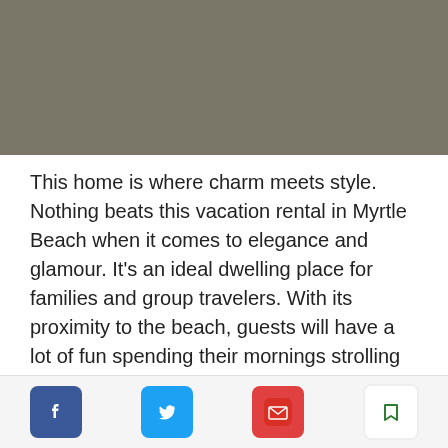[Figure (photo): Dark olive/grey colored photo bar at top of page, partially visible]
This home is where charm meets style. Nothing beats this vacation rental in Myrtle Beach when it comes to elegance and glamour. It’s an ideal dwelling place for families and group travelers. With its proximity to the beach, guests will have a lot of fun spending their mornings strolling around the beach while listening to the crashing of the waves. This house also boasts state-of-the-art living rooms, charming bedrooms, and pristine bathrooms. If you’re after a luxurious stay, this home has an ou
[Figure (infographic): Social sharing bar with Facebook, Twitter, Email/Mail, and Bookmark icons]